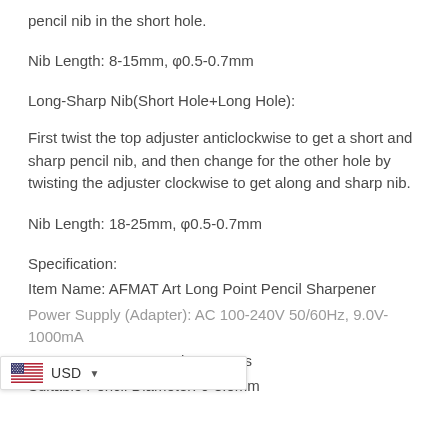pencil nib in the short hole.
Nib Length: 8-15mm, φ0.5-0.7mm
Long-Sharp Nib(Short Hole+Long Hole):
First twist the top adjuster anticlockwise to get a short and sharp pencil nib, and then change for the other hole by twisting the adjuster clockwise to get along and sharp nib.
Nib Length: 18-25mm, φ0.5-0.7mm
Specification:
Item Name: AFMAT Art Long Point Pencil Sharpener
Power Supply (Adapter): AC 100-240V 50/60Hz, 9.0V-1000mA
Sharpening Time: about 8-12s
Suitable Pencil Diameter: 6-8.5mm